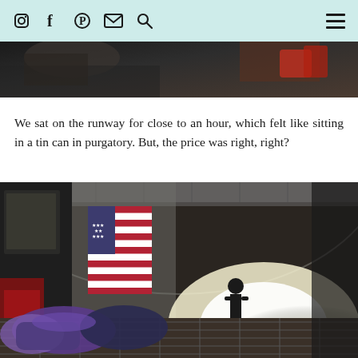Social media icons: Instagram, Facebook, Pinterest, Email, Search; Hamburger menu
[Figure (photo): Partial view of aircraft interior cargo area, top portion cropped]
We sat on the runway for close to an hour, which felt like sitting in a tin can in purgatory. But, the price was right, right?
[Figure (photo): Interior of military cargo aircraft (C-130 or similar) with American flag draped on the wall, insulated walls, cargo on the floor, and a person silhouetted against bright light at the open rear ramp]